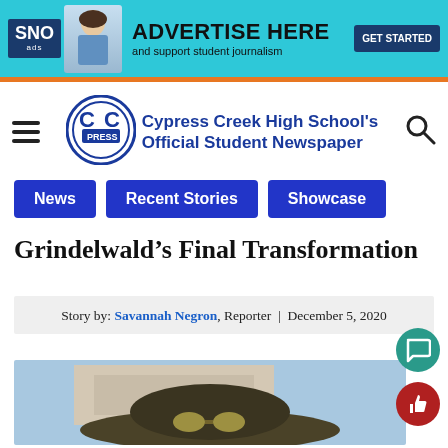[Figure (photo): SNO ads banner: ADVERTISE HERE and support student journalism. GET STARTED button. Blue/teal background with orange bottom border. Student with backpack pointing.]
[Figure (logo): CC Press logo — Cypress Creek High School's Official Student Newspaper]
Cypress Creek High School's Official Student Newspaper
News
Recent Stories
Showcase
Grindelwald’s Final Transformation
Story by: Savannah Negron, Reporter | December 5, 2020
[Figure (photo): Person wearing a wide-brimmed dark olive hat and round sunglasses, in front of a building with light blue sky. Related to Grindelwald character.]